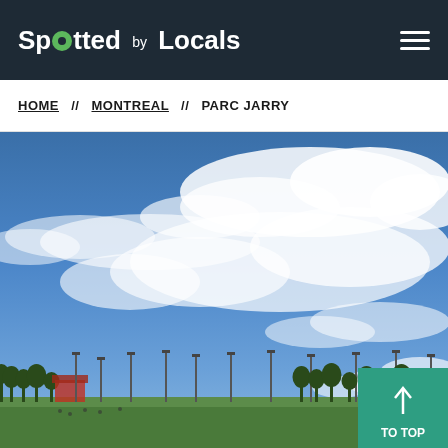Spotted by Locals
HOME // MONTREAL // PARC JARRY
[Figure (photo): Outdoor park scene with a dramatic blue sky and scattered white clouds above. In the background, trees, sports field lights/poles, a red structure, and green park grounds are visible. This appears to be Parc Jarry in Montreal. A teal 'TO TOP' button with an upward arrow is overlaid in the bottom-right corner.]